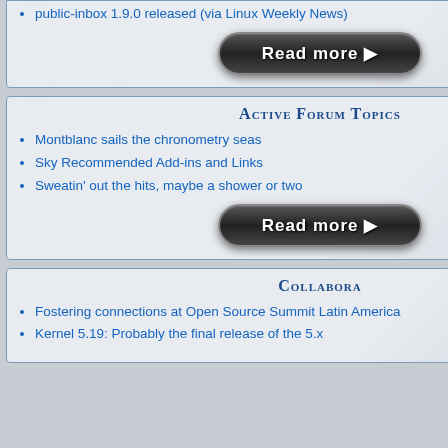public-inbox 1.9.0 released (via Linux Weekly News)
[Figure (other): Read more button]
Active Forum Topics
Montblanc sails the chronometry seas
Sky Recommended Add-ins and Links
Sweatin' out the hits, maybe a shower or two
[Figure (other): Read more button]
Collabora
Fostering connections at Open Source Summit Latin America
Kernel 5.19: Probably the final release of the 5.x
Software Collection project, an image viewer, organizer and editor application designed specifically for the KDE desktop environment, have announced the release of digiKam 4.14.0.